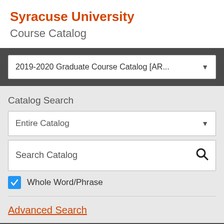Syracuse University
Course Catalog
2019-2020 Graduate Course Catalog [AR...
Catalog Search
Entire Catalog
Search Catalog
Whole Word/Phrase
Advanced Search
Catalog Navigation